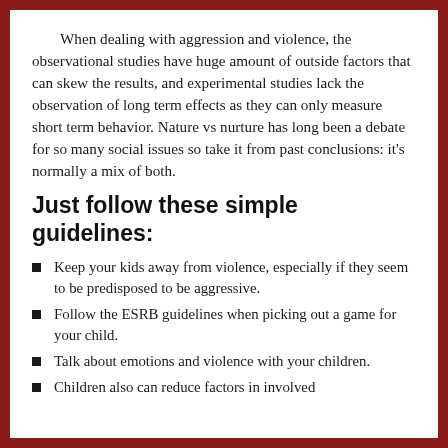When dealing with aggression and violence, the observational studies have huge amount of outside factors that can skew the results, and experimental studies lack the observation of long term effects as they can only measure short term behavior. Nature vs nurture has long been a debate for so many social issues so take it from past conclusions: it's normally a mix of both.
Just follow these simple guidelines:
Keep your kids away from violence, especially if they seem to be predisposed to be aggressive.
Follow the ESRB guidelines when picking out a game for your child.
Talk about emotions and violence with your children.
Children also can reduce factors in involved...